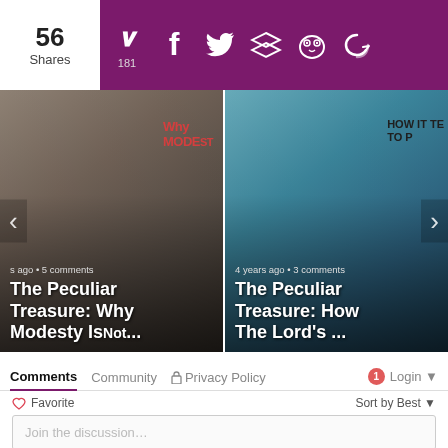56 Shares — Social sharing bar with Pinterest (181), Facebook, Twitter, Buffer, Owly, and another icon
[Figure (screenshot): Two article card thumbnails in a carousel: 'The Peculiar Treasure: Why Modesty Is Not...' (5 comments ago) and 'The Peculiar Treasure: How The Lord's ...' (4 years ago • 3 comments)]
Comments  Community  Privacy Policy  Login
Favorite  Sort by Best
Join the discussion...
LOG IN WITH
[Figure (logo): Login icons: Disqus (blue D), Facebook (blue f), Twitter (blue bird), Google (red G)]
OR SIGN UP WITH DISQUS ?